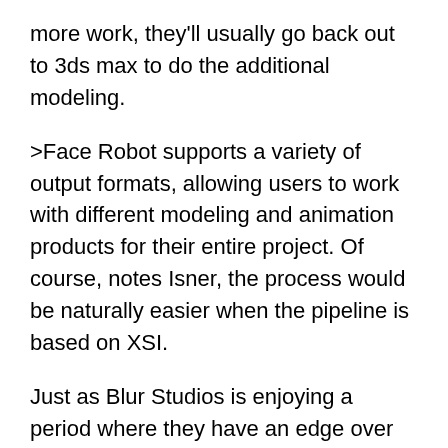more work, they'll usually go back out to 3ds max to do the additional modeling.
>Face Robot supports a variety of output formats, allowing users to work with different modeling and animation products for their entire project. Of course, notes Isner, the process would be naturally easier when the pipeline is based on XSI.
Just as Blur Studios is enjoying a period where they have an edge over the competition with Face Robot, before the product is officially rolled out, Softimage believes they have an edge with Face Robot. Softimage Vice President Gregor von Sheidt, former CEO of Alienbrain who came to Softimage with Alienbrain's acquisition, will be leading the introduction of the new product. Face Robot isn't going to be thrown to the dogs